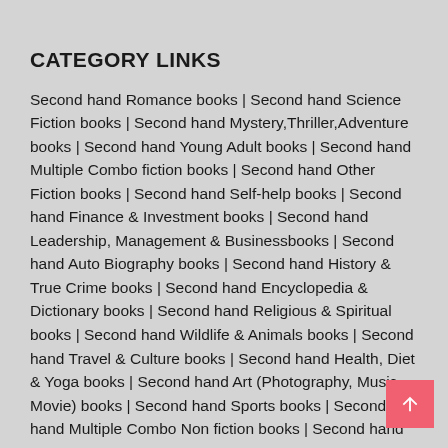CATEGORY LINKS
Second hand Romance books | Second hand Science Fiction books | Second hand Mystery,Thriller,Adventure books | Second hand Young Adult books | Second hand Multiple Combo fiction books | Second hand Other Fiction books | Second hand Self-help books | Second hand Finance & Investment books | Second hand Leadership, Management & Businessbooks | Second hand Auto Biography books | Second hand History & True Crime books | Second hand Encyclopedia & Dictionary books | Second hand Religious & Spiritual books | Second hand Wildlife & Animals books | Second hand Travel & Culture books | Second hand Health, Diet & Yoga books | Second hand Art (Photography, Music, Movie) books | Second hand Sports books | Second hand Multiple Combo Non fiction books | Second hand